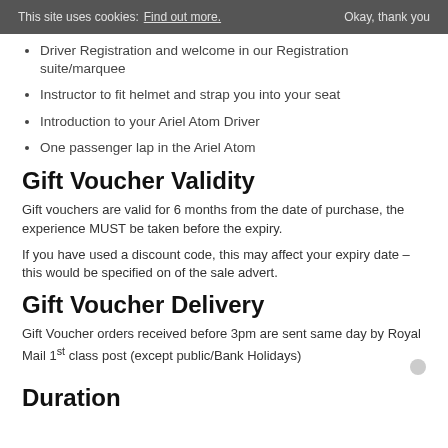This site uses cookies: Find out more. Okay, thank you
Driver Registration and welcome in our Registration suite/marquee
Instructor to fit helmet and strap you into your seat
Introduction to your Ariel Atom Driver
One passenger lap in the Ariel Atom
Gift Voucher Validity
Gift vouchers are valid for 6 months from the date of purchase, the experience MUST be taken before the expiry.
If you have used a discount code, this may affect your expiry date – this would be specified on of the sale advert.
Gift Voucher Delivery
Gift Voucher orders received before 3pm are sent same day by Royal Mail 1st class post (except public/Bank Holidays)
Duration